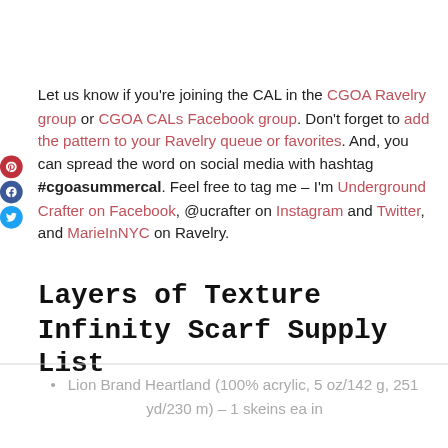Let us know if you're joining the CAL in the CGOA Ravelry group or CGOA CALs Facebook group. Don't forget to add the pattern to your Ravelry queue or favorites. And, you can spread the word on social media with hashtag #cgoasummercal. Feel free to tag me – I'm Underground Crafter on Facebook, @ucrafter on Instagram and Twitter, and MarieInNYC on Ravelry.
Layers of Texture Infinity Scarf Supply List
Lion Brand Heartland (100% acrylic, 5 oz/142 g, 251 yd/230 m) – 1 skeins ea in